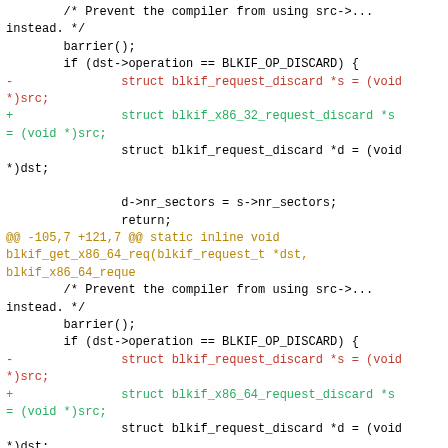Code diff showing changes to blkif_get_x86_32_req and blkif_get_x86_64_req functions, replacing blkif_request_discard with blkif_x86_32_request_discard and blkif_x86_64_request_discard respectively.